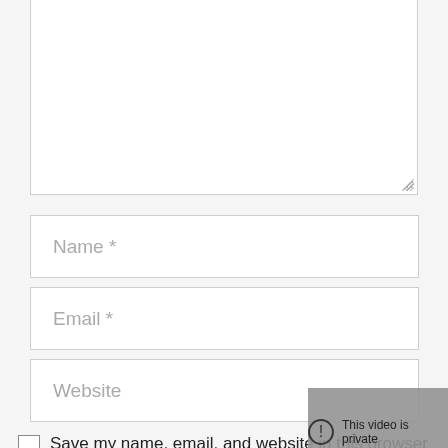[Figure (screenshot): A website comment form showing a textarea (partially visible at top), Name, Email, and Website input fields, a Save my name/email/website checkbox, and a Post Comment button. An overlay shows a 'This video is private' notice and a moon-icon button.]
Name *
Email *
Website
Save my name, email, and website in this browser for the next time I comment.
Post Comment
This video is private